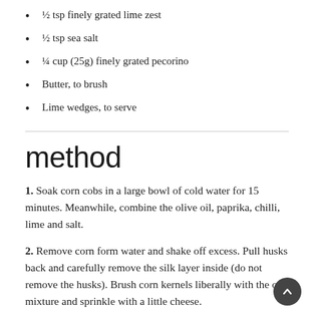½ tsp finely grated lime zest
½ tsp sea salt
¼ cup (25g) finely grated pecorino
Butter, to brush
Lime wedges, to serve
method
1. Soak corn cobs in a large bowl of cold water for 15 minutes. Meanwhile, combine the olive oil, paprika, chilli, lime and salt.
2. Remove corn form water and shake off excess. Pull husks back and carefully remove the silk layer inside (do not remove the husks). Brush corn kernels liberally with the oil mixture and sprinkle with a little cheese.